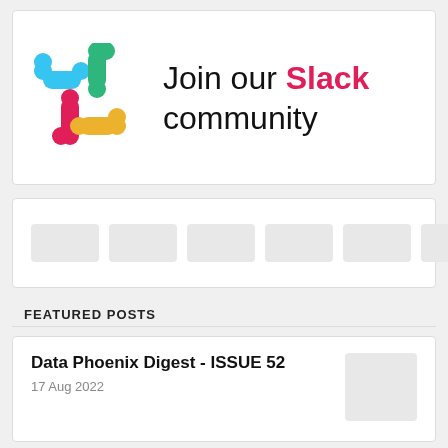[Figure (logo): Slack logo with colorful pill shapes (blue, green, pink, yellow) alongside text 'Join our Slack community' where 'Slack' is in pink/red]
[Figure (screenshot): Navigation bar with multiple gray placeholder blocks representing menu or category items]
FEATURED POSTS
Data Phoenix Digest - ISSUE 52
17 Aug 2022